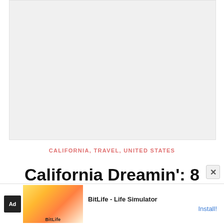[Figure (photo): Large light gray placeholder image area at the top of the page]
CALIFORNIA, TRAVEL, UNITED STATES
California Dreamin': 8 Great Neighborhoods In Los
[Figure (screenshot): Advertisement banner at bottom: BitLife - Life Simulator app ad with emoji graphics and Install button]